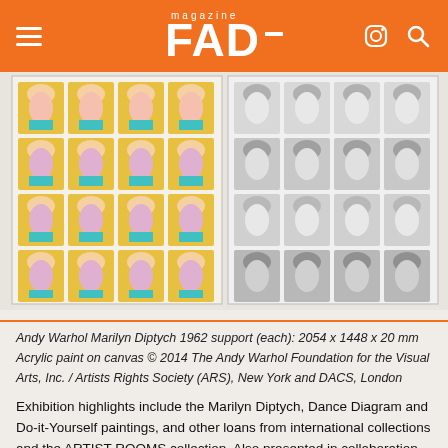FAD magazine
[Figure (photo): Andy Warhol Marilyn Diptych artwork showing two panels: left panel with colorful (yellow, teal, pink) repeated Marilyn Monroe portraits in a 4x4 grid, right panel with black and white repeated Marilyn Monroe portraits in a 4x4 grid]
Andy Warhol Marilyn Diptych 1962 support (each): 2054 x 1448 x 20 mm Acrylic paint on canvas © 2014 The Andy Warhol Foundation for the Visual Arts, Inc. / Artists Rights Society (ARS), New York and DACS, London
Exhibition highlights include the Marilyn Diptych, Dance Diagram and Do-it-Yourself paintings, and other loans from international collections and the ARTIST ROOMS collection. Also presented in collaboration with the Andy